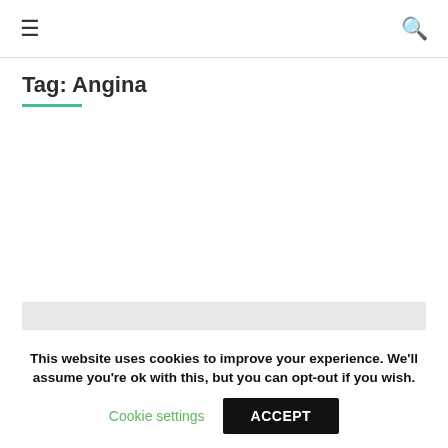≡  🔍
Tag: Angina
[Figure (other): Grey placeholder content bar]
[Figure (other): Grey placeholder box with white inner card and blue button]
This website uses cookies to improve your experience. We'll assume you're ok with this, but you can opt-out if you wish.
Cookie settings   ACCEPT